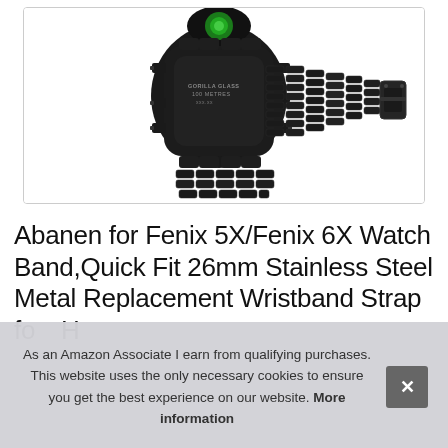[Figure (photo): Product photo of a Garmin Fenix 5X/6X smartwatch with black stainless steel metal link band, viewed from the back showing watch clasp and band. Green sensor visible on watch face. Text on watch reads GORILLA GLASS 100 METRES.]
Abanen for Fenix 5X/Fenix 6X Watch Band,Quick Fit 26mm Stainless Steel Metal Replacement Wristband Strap fo... HR...
As an Amazon Associate I earn from qualifying purchases. This website uses the only necessary cookies to ensure you get the best experience on our website. More information